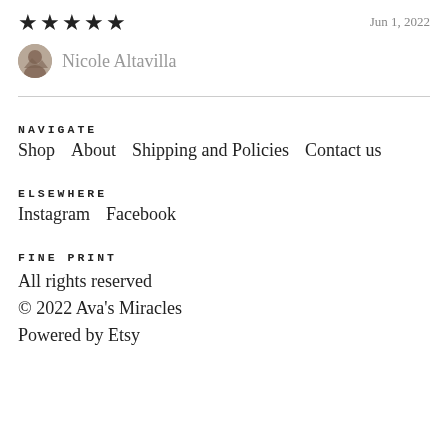★★★★★   Jun 1, 2022
Nicole Altavilla
NAVIGATE
Shop   About   Shipping and Policies   Contact us
ELSEWHERE
Instagram   Facebook
FINE PRINT
All rights reserved
© 2022 Ava's Miracles
Powered by Etsy